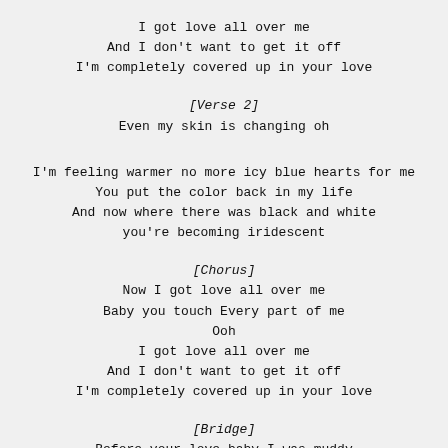I got love all over me
And I don't want to get it off
I'm completely covered up in your love
[Verse 2]
Even my skin is changing oh
I'm feeling warmer no more icy blue hearts for me
You put the color back in my life
And now where there was black and white
you're becoming iridescent
[Chorus]
Now I got love all over me
Baby you touch Every part of me
Ooh
I got love all over me
And I don't want to get it off
I'm completely covered up in your love
[Bridge]
Before your love baby I was muddy